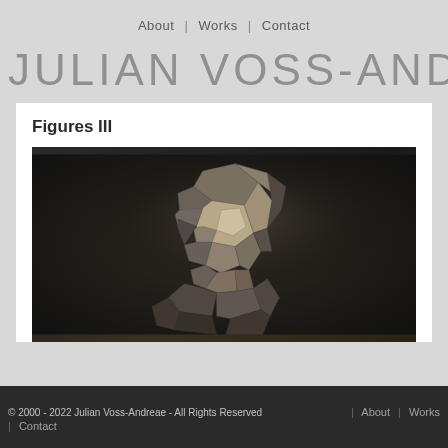About | Works | Contact
JULIAN VOSS-ANDREAE
Figures III
[Figure (photo): A low-polygon metallic sculpture of a human head and upper torso, photographed against a dark background. The sculpture is made of flat triangular and polygonal facets giving a geometric, crystalline appearance. The material appears to be brushed or hammered steel/silver metal.]
© 2000 - 2022 Julian Voss-Andreae - All Rights Reserved  |  About  |  Works  |  Contact